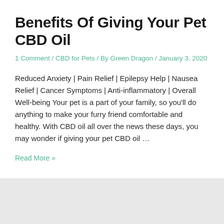Benefits Of Giving Your Pet CBD Oil
1 Comment / CBD for Pets / By Green Dragon / January 3, 2020
Reduced Anxiety | Pain Relief | Epilepsy Help | Nausea Relief | Cancer Symptoms | Anti-inflammatory | Overall Well-being Your pet is a part of your family, so you'll do anything to make your furry friend comfortable and healthy. With CBD oil all over the news these days, you may wonder if giving your pet CBD oil …
Read More »
THE GREEN